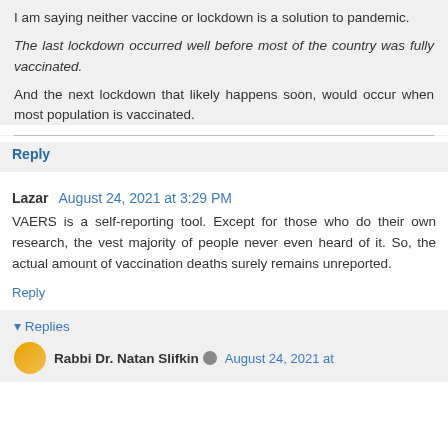I am saying neither vaccine or lockdown is a solution to pandemic.
The last lockdown occurred well before most of the country was fully vaccinated.
And the next lockdown that likely happens soon, would occur when most population is vaccinated.
Reply
Lazar  August 24, 2021 at 3:29 PM
VAERS is a self-reporting tool. Except for those who do their own research, the vest majority of people never even heard of it. So, the actual amount of vaccination deaths surely remains unreported.
Reply
Replies
Rabbi Dr. Natan Slifkin  August 24, 2021 at